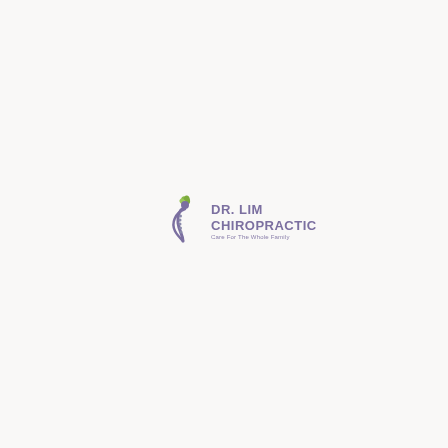[Figure (logo): Dr. Lim Chiropractic logo featuring a stylized purple human figure with a spine curve and green leaf at the top, alongside the text 'Dr. Lim Chiropractic' in purple/mauve uppercase letters and the tagline 'Care For The Whole Family' in smaller text below.]